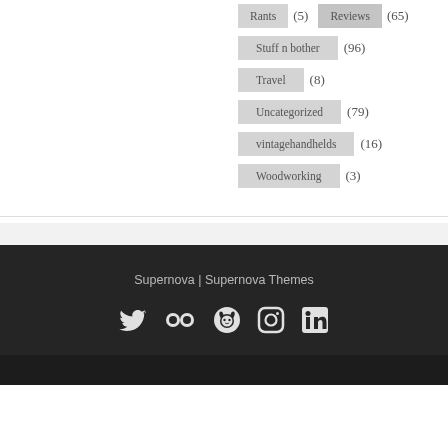Rants (5)  Reviews (65)
Stuff n bother (96)
Travel (8)
Uncategorized (79)
vintagehandhelds (16)
Woodworking (3)
Supernova | Supernova Themes